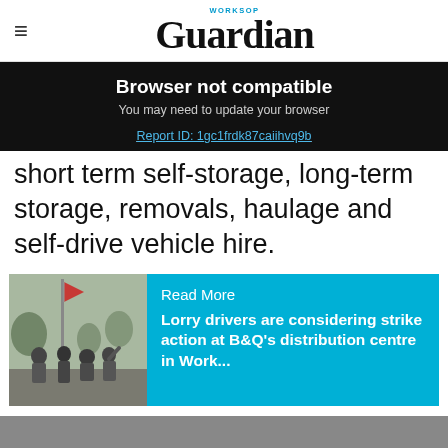Worksop Guardian
Browser not compatible
You may need to update your browser
Report ID: 1gc1frdk87caiihvq9b
short term self-storage, long-term storage, removals, haulage and self-drive vehicle hire.
[Figure (photo): Group of lorry drivers and workers with flags, outdoors, protest scene]
Read More
Lorry drivers are considering strike action at B&Q's distribution centre in Work...